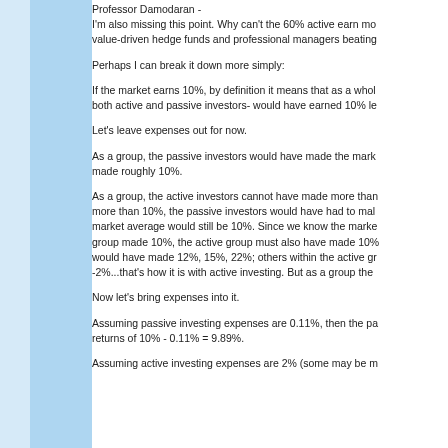Professor Damodaran -
I'm also missing this point. Why can't the 60% active earn mo... value-driven hedge funds and professional managers beating...
Perhaps I can break it down more simply:
If the market earns 10%, by definition it means that as a who... both active and passive investors- would have earned 10% le...
Let's leave expenses out for now.
As a group, the passive investors would have made the mark... made roughly 10%.
As a group, the active investors cannot have made more tha... more than 10%, the passive investors would have had to ma... market average would still be 10%. Since we know the marke... group made 10%, the active group must also have made 10%... would have made 12%, 15%, 22%; others within the active g... -2%...that's how it is with active investing. But as a group the...
Now let's bring expenses into it.
Assuming passive investing expenses are 0.11%, then the pa... returns of 10% - 0.11% = 9.89%.
Assuming active investing expenses are 2% (some may be m...